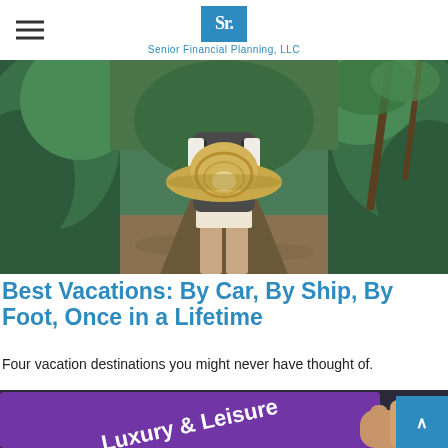Senior Financial Planning, LLC
[Figure (photo): Person wearing a large straw hat and backpack, walking through a tropical jungle path with muddy water, viewed from behind. Lush green vegetation surrounds the path.]
Best Vacations: By Car, By Ship, By Foot, Once in a Lifetime
Four vacation destinations you might never have thought of.
[Figure (photo): Close-up of a tablet device showing a purple screen with text 'Luxury & Leisure', with a person's hand visible in the background.]